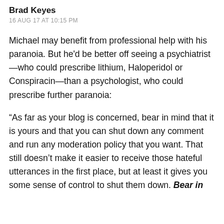Brad Keyes
16 AUG 17 AT 10:15 PM
Michael may benefit from professional help with his paranoia. But he'd be better off seeing a psychiatrist—who could prescribe lithium, Haloperidol or Conspiracin—than a psychologist, who could prescribe further paranoia:
“As far as your blog is concerned, bear in mind that it is yours and that you can shut down any comment and run any moderation policy that you want. That still doesn’t make it easier to receive those hateful utterances in the first place, but at least it gives you some sense of control to shut them down. Bear in